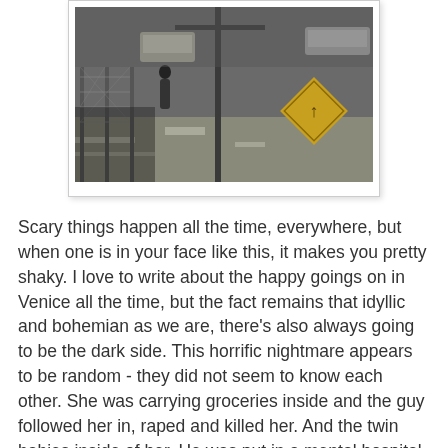[Figure (photo): Street scene photograph showing a sidewalk area with a chain-link fence, a yellow diamond-shaped road sign, parked cars in the background, and what appears to be a utility pole. The image is mounted in a white photo frame with a slight shadow.]
Scary things happen all the time, everywhere, but when one is in your face like this, it makes you pretty shaky. I love to write about the happy goings on in Venice all the time, but the fact remains that idyllic and bohemian as we are, there's also always going to be the dark side. This horrific nightmare appears to be random - they did not seem to know each other. She was carrying groceries inside and the guy followed her in, raped and killed her. And the twin babies inside of her. He was put in a mental hospital just in July, but found mentally competent to go to trial for burglary this past September. This feels like another massive failure of "the system", if you ask me. Everyone I talked to today feels like another massive failure of the system would be to allow this guy to remain alive. I know the death penalty is ultra-controversial and really a terrible thing in itself, but it feels